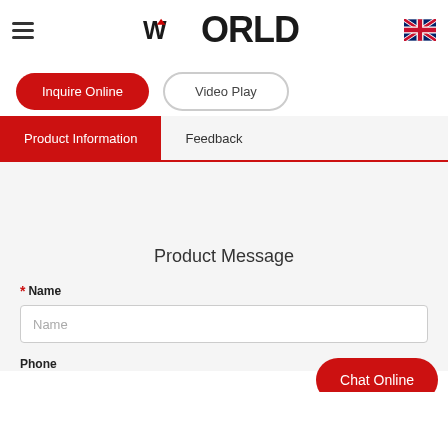WORLD
Inquire Online
Video Play
Product Information | Feedback
Product Message
* Name
Phone
Chat Online